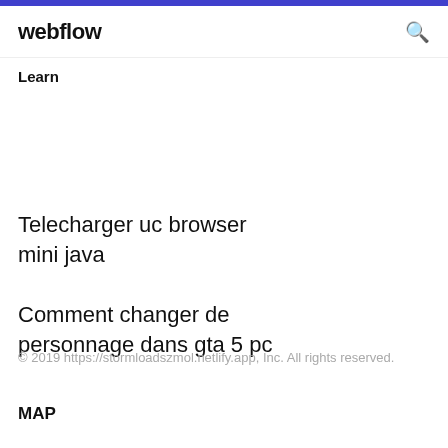webflow
Learn
Telecharger uc browser mini java
Comment changer de personnage dans gta 5 pc
© 2019 https://stormloadszmol.netlify.app, Inc. All rights reserved.
MAP